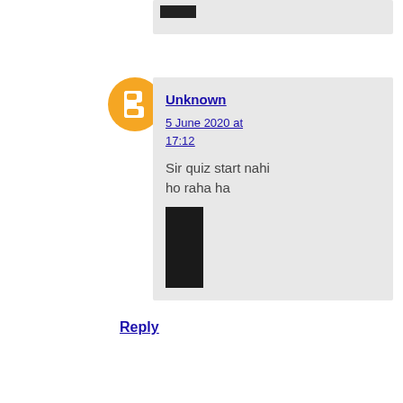[Figure (screenshot): Partial comment block at top, redacted with dark bar]
[Figure (illustration): Blogger orange circle avatar icon]
Unknown
5 June 2020 at 17:12
Sir quiz start nahi ho raha ha
[Figure (other): Redacted dark rectangle block]
Reply